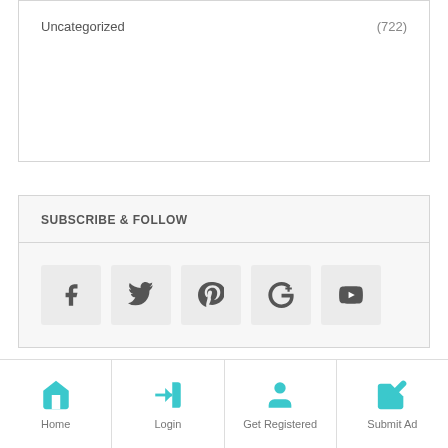Uncategorized (722)
SUBSCRIBE & FOLLOW
[Figure (infographic): Social media icon buttons: Facebook, Twitter, Pinterest, Google+, YouTube]
[Figure (infographic): Back to top button with double up-arrow chevron]
Home | Login | Get Registered | Submit Ad